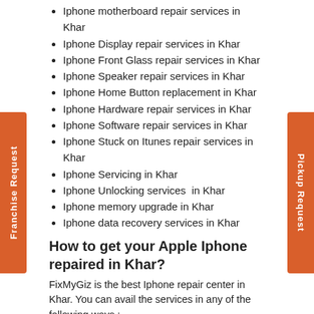Iphone motherboard repair services in Khar
Iphone Display repair services in Khar
Iphone Front Glass repair services in Khar
Iphone Speaker repair services in Khar
Iphone Home Button replacement in Khar
Iphone Hardware repair services in Khar
Iphone Software repair services in Khar
Iphone Stuck on Itunes repair services in Khar
Iphone Servicing in Khar
Iphone Unlocking services  in Khar
Iphone memory upgrade in Khar
Iphone data recovery services in Khar
How to get your Apple Iphone repaired in Khar?
FixMyGiz is the best Iphone repair center in Khar. You can avail the services in any of the following ways :
Visit our Iphone Service Center in Khar.(Or nearest servcice Center)
Avail our Free Pickup Drop Facility for Iphone repairs in Khar.
Onsite Iphone repair service in Khar.
Why repair your Apple Iphone in Khar with us?